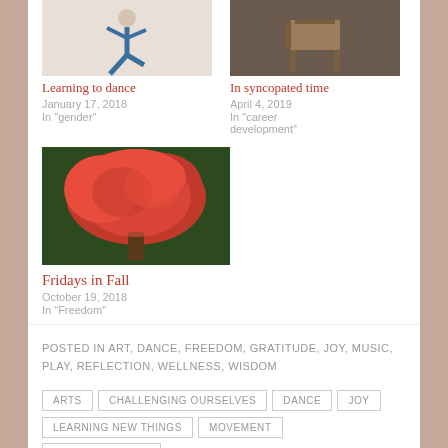[Figure (photo): Dancer in blue leggings doing yoga/dance pose, white background]
Learning to dance
January 17, 2018
In "gender"
[Figure (photo): Wooden chair in a dark room]
In syncopated time
April 4, 2019
In "career development"
[Figure (photo): Red maple tree with bright red leaves against dark green foliage]
Fridays in Fall
October 19, 2018
In "Freedom"
POSTED IN ART, DANCE, FREEDOM, GRATITUDE, JOY, MUSIC, PLAY, REFLECTION, WELLNESS, WISDOM
ARTS
CHALLENGING OURSELVES
DANCE
JOY
LEARNING NEW THINGS
MOVEMENT
MUSCLE MEMORY